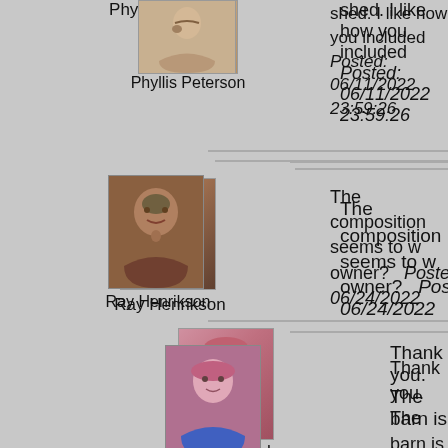[Figure (photo): Profile photo of Phyllis Peterson]
Phyllis Peterson
shed. I like how you included... Posted: 06/11/2022 23:59:26
[Figure (photo): Profile photo of Ray Henrikson]
Ray Henrikson
The composition seems to w... owner?   Posted: 06/24/2022...
[Figure (photo): Profile photo of Cindy Lynch]
Cindy Lynch
Thank you. The barn is...
[Figure (photo): Profile photo of Bai Chuang Shyu]
Bai Chuang Shyu
A beautiful landscape image.... processed well.   Posted: 06/...